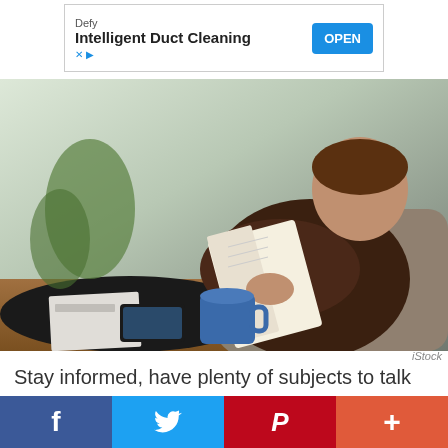[Figure (screenshot): Advertisement banner: 'Defy - Intelligent Duct Cleaning' with OPEN button, X and play icons at bottom left]
[Figure (photo): Man sitting in a chair reading a book with a blue coffee mug on a table beside him, indoor setting with plants in background]
iStock
Stay informed, have plenty of subjects to talk about at parties, keep your brain sharp, and
[Figure (screenshot): Social sharing bar with Facebook, Twitter, Pinterest, and more (+) buttons]